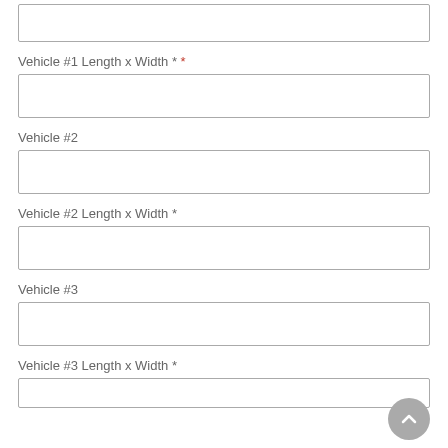(top input box — no label visible, partial field)
Vehicle #1 Length x Width * *
Vehicle #2
Vehicle #2 Length x Width *
Vehicle #3
Vehicle #3 Length x Width *